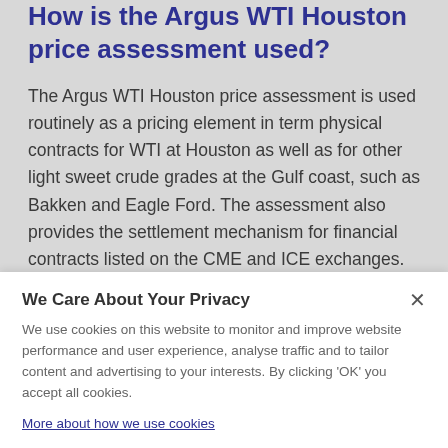How is the Argus WTI Houston price assessment used?
The Argus WTI Houston price assessment is used routinely as a pricing element in term physical contracts for WTI at Houston as well as for other light sweet crude grades at the Gulf coast, such as Bakken and Eagle Ford. The assessment also provides the settlement mechanism for financial contracts listed on the CME and ICE exchanges. These contracts are used widely by those wanting to participate in the financial trade of WTI or by those who want to hedge exposure to the physical WTI market at the Gulf coast. Or, in contrast, the financial…
We Care About Your Privacy
We use cookies on this website to monitor and improve website performance and user experience, analyse traffic and to tailor content and advertising to your interests. By clicking 'OK' you accept all cookies.
More about how we use cookies